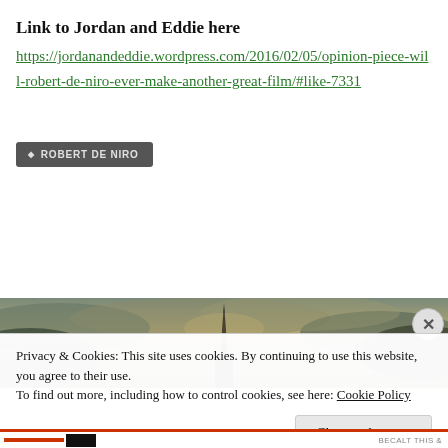Link to Jordan and Eddie here
https://jordanandeddie.wordpress.com/2016/02/05/opinion-piece-will-robert-de-niro-ever-make-another-great-film/#like-7331
ROBERT DE NIRO
[Figure (photo): Dark dramatic image with a spire silhouette against stormy sky]
Privacy & Cookies: This site uses cookies. By continuing to use this website, you agree to their use.
To find out more, including how to control cookies, see here: Cookie Policy
Close and accept